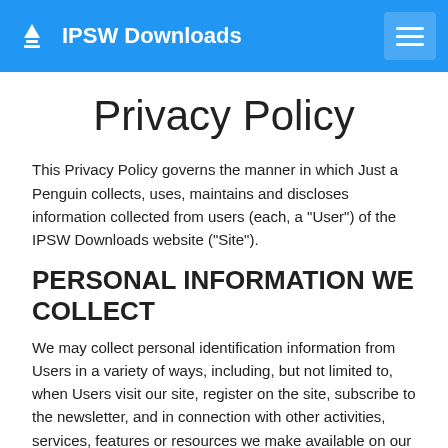IPSW Downloads
Privacy Policy
This Privacy Policy governs the manner in which Just a Penguin collects, uses, maintains and discloses information collected from users (each, a "User") of the IPSW Downloads website ("Site").
PERSONAL INFORMATION WE COLLECT
We may collect personal identification information from Users in a variety of ways, including, but not limited to, when Users visit our site, register on the site, subscribe to the newsletter, and in connection with other activities, services, features or resources we make available on our Site. Users may be asked for, as appropriate, an email